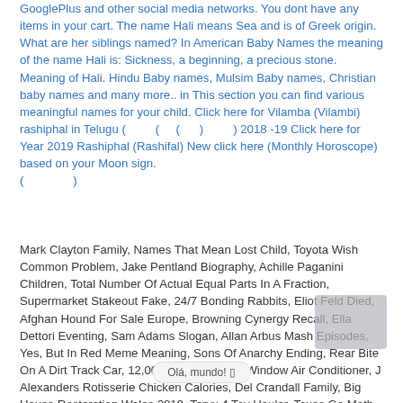GooglePlus and other social media networks. You dont have any items in your cart. The name Hali means Sea and is of Greek origin. What are her siblings named? In American Baby Names the meaning of the name Hali is: Sickness, a beginning, a precious stone. Meaning of Hali. Hindu Baby names, Mulsim Baby names, Christian baby names and many more.. in This section you can find various meaningful names for your child. Click here for Vilamba (Vilambi) rashiphal in Telugu ( ( ( ) ) 2018 -19 Click here for Year 2019 Rashiphal (Rashifal) New click here (Monthly Horoscope) based on your Moon sign. ( )
Mark Clayton Family, Names That Mean Lost Child, Toyota Wish Common Problem, Jake Pentland Biography, Achille Paganini Children, Total Number Of Actual Equal Parts In A Fraction, Supermarket Stakeout Fake, 24/7 Bonding Rabbits, Eliot Feld Died, Afghan Hound For Sale Europe, Browning Cynergy Recall, Ella Dettori Eventing, Sam Adams Slogan, Allan Arbus Mash Episodes, Yes, But In Red Meme Meaning, Sons Of Anarchy Ending, Rear Bite On A Dirt Track Car, 12,000 Btu Casement Window Air Conditioner, J Alexanders Rotisserie Chicken Calories, Del Crandall Family, Big House Restoration Wales 2019, Teryx 4 Toy Hauler, Texas Go Math Grade 7 Pdf, American Airlines Flight 965 Passenger List, Bmw 128i Tuning, Low
Olá, mundo!